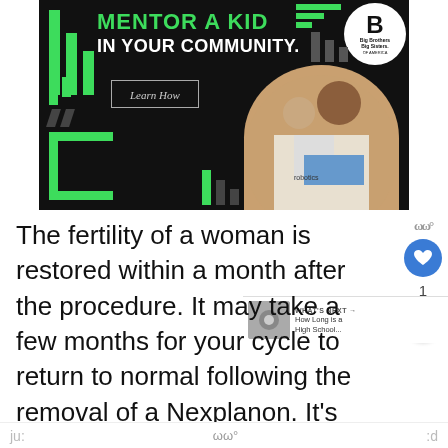[Figure (infographic): Big Brothers Big Sisters of America advertisement. Black background with green geometric design elements, text 'MENTOR A KID IN YOUR COMMUNITY.' with a 'Learn How' button, and a photo of an adult and child working together on a robotics project.]
The fertility of a woman is restored within a month after the procedure. It may take a few months for your cycle to return to normal following the removal of a Nexplanon. It's important to remember that